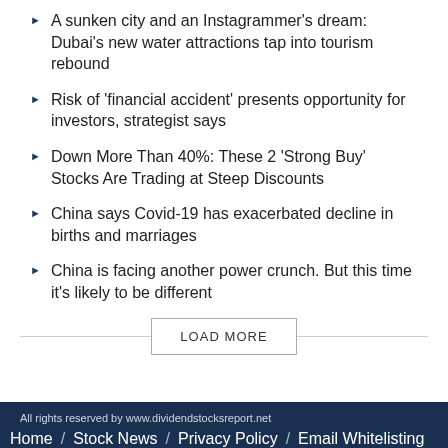A sunken city and an Instagrammer’s dream: Dubai’s new water attractions tap into tourism rebound
Risk of ‘financial accident’ presents opportunity for investors, strategist says
Down More Than 40%: These 2 ‘Strong Buy’ Stocks Are Trading at Steep Discounts
China says Covid-19 has exacerbated decline in births and marriages
China is facing another power crunch. But this time it’s likely to be different
LOAD MORE
All rights reserved by www.dividendstocksreport.net
Home / Stock News / Privacy Policy / Email Whitelisting